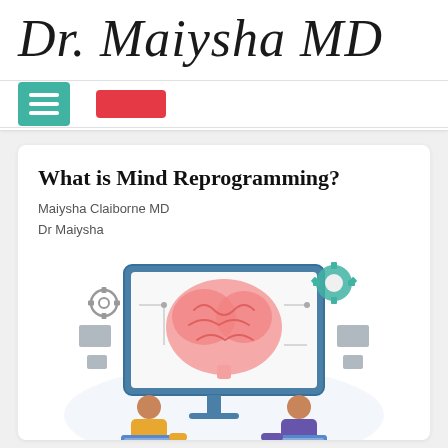Dr. Maiysha MD
[Figure (screenshot): Navigation bar with teal hamburger menu button and a red call-to-action button]
What is Mind Reprogramming?
Maiysha Claiborne MD
Dr Maiysha
[Figure (illustration): Illustration of two people working at computer monitors with a large brain displayed on the central monitor, gears and tech elements in the background]